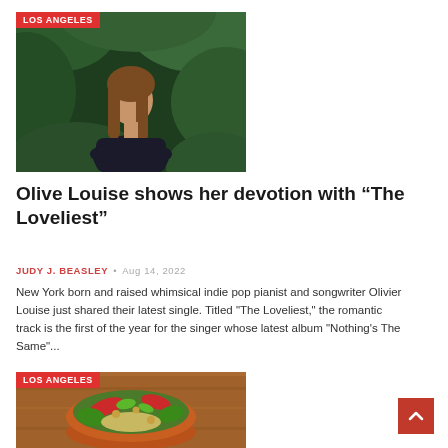[Figure (photo): Photo of a young woman with long brown hair sitting outdoors among green foliage, wearing dark clothing. Red tag reads LOS ANGELES in top-left corner.]
Olive Louise shows her devotion with “The Loveliest”
JUDY J. BEASLEY • Aug 14, 2022
New York born and raised whimsical indie pop pianist and songwriter Olivier Louise just shared their latest single. Titled "The Loveliest," the romantic track is the first of the year for the singer whose latest album "Nothing's The Same"...
[Figure (photo): Photo of a colorful bowl of food (salad/stir-fry with vegetables and nuts) on a wooden surface. Red tag reads LOS ANGELES in top-left corner.]